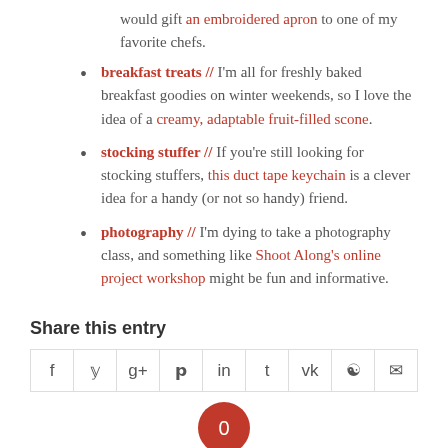would gift an embroidered apron to one of my favorite chefs.
breakfast treats // I'm all for freshly baked breakfast goodies on winter weekends, so I love the idea of a creamy, adaptable fruit-filled scone.
stocking stuffer // If you're still looking for stocking stuffers, this duct tape keychain is a clever idea for a handy (or not so handy) friend.
photography // I'm dying to take a photography class, and something like Shoot Along's online project workshop might be fun and informative.
Share this entry
| f | y | g+ | p | in | t | vk | reddit | mail |
| --- | --- | --- | --- | --- | --- | --- | --- | --- |
|  |
[Figure (other): Red circle with number 0]